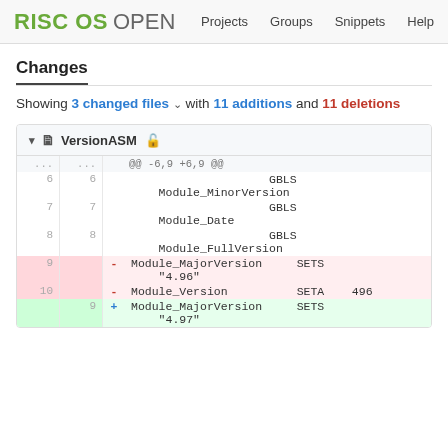RISC OS OPEN  Projects  Groups  Snippets  Help
Changes
Showing 3 changed files with 11 additions and 11 deletions
| old-line | new-line | sign | code |
| --- | --- | --- | --- |
| ... | ... |  | @@ -6,9 +6,9 @@ |
| 6 | 6 |  | GBLS Module_MinorVersion |
| 7 | 7 |  | GBLS Module_Date |
| 8 | 8 |  | GBLS Module_FullVersion |
| 9 |  | - | Module_MajorVersion SETS "4.96" |
| 10 |  | - | Module_Version SETA 496 |
|  | 9 | + | Module_MajorVersion SETS "4.97" |